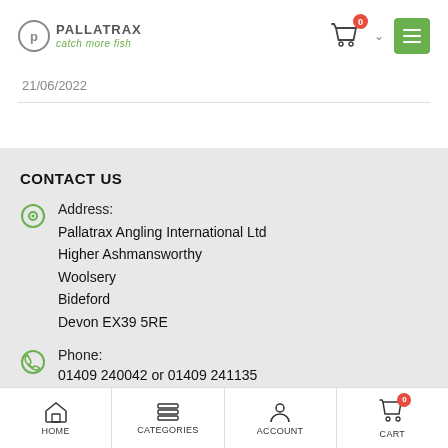Pallatrax catch more fish — header with cart and menu
21/06/2022
CONTACT US
Address: Pallatrax Angling International Ltd, Higher Ashmansworthy, Woolsery, Bideford, Devon EX39 5RE
Phone: 01409 240042 or 01409 241135
HOME  CATEGORIES  ACCOUNT  CART